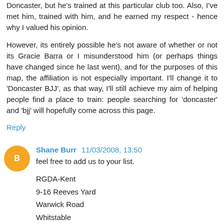Doncaster, but he's trained at this particular club too. Also, I've met him, trained with him, and he earned my respect - hence why I valued his opinion.
However, its entirely possible he's not aware of whether or not its Gracie Barra or I misunderstood him (or perhaps things have changed since he last went), and for the purposes of this map, the affiliation is not especially important. I'll change it to 'Doncaster BJJ', as that way, I'll still achieve my aim of helping people find a place to train: people searching for 'doncaster' and 'bjj' will hopefully come across this page.
Reply
Shane Burr  11/03/2008, 13:50
feel free to add us to your list.
RGDA-Kent
9-16 Reeves Yard
Warwick Road
Whitstable